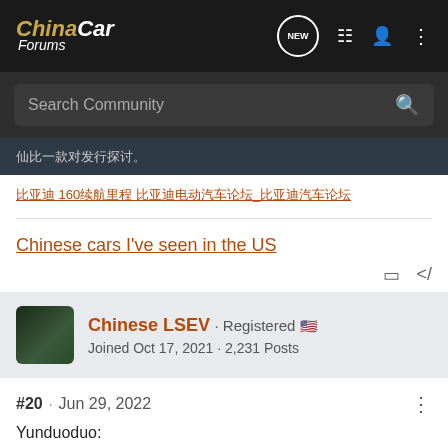ChinaCar Forums
Search Community
仙比一款对发行探讨。
比亚迪 160续航里程 比亚迪电动汽车论坛_比亚迪汽车论坛
Chinese cars I've seen in the US
Chinese LSEV · Registered
Joined Oct 17, 2021 · 2,231 Posts
#20 · Jun 29, 2022
Yunduoduo: